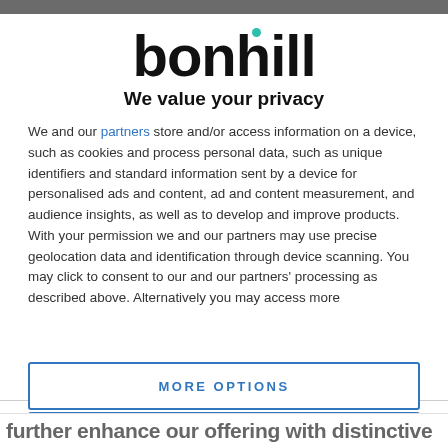[Figure (logo): Bonhill logo with teal dot accent on the 'i']
We value your privacy
We and our partners store and/or access information on a device, such as cookies and process personal data, such as unique identifiers and standard information sent by a device for personalised ads and content, ad and content measurement, and audience insights, as well as to develop and improve products. With your permission we and our partners may use precise geolocation data and identification through device scanning. You may click to consent to our and our partners' processing as described above. Alternatively you may access more detailed information…
AGREE
MORE OPTIONS
further enhance our offering with distinctive